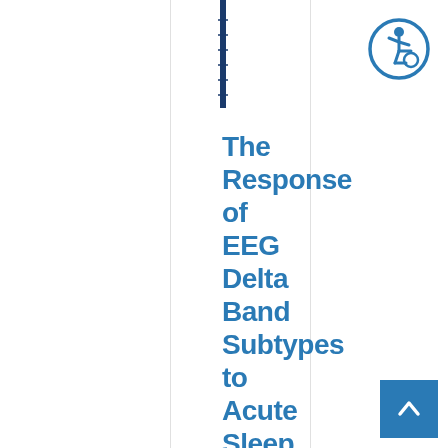[Figure (other): Vertical dark blue bar/spine graphic at the top center of the page, resembling a book spine with horizontal tick marks]
The Response of EEG Delta Band Subtypes to Acute Sleep Loss in
[Figure (logo): Circular accessibility icon with dark blue border showing a person in a wheelchair, on white background]
[Figure (other): Dark blue square scroll-to-top button with white upward chevron arrow, positioned at bottom right]